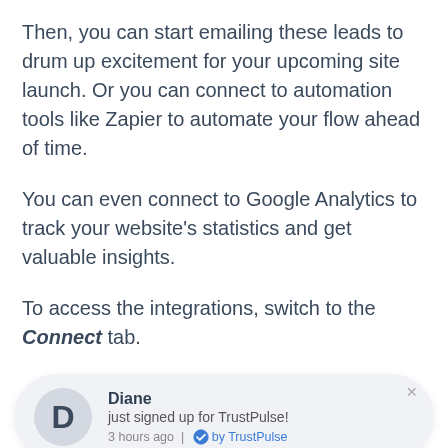Then, you can start emailing these leads to drum up excitement for your upcoming site launch. Or you can connect to automation tools like Zapier to automate your flow ahead of time.
You can even connect to Google Analytics to track your website's statistics and get valuable insights.
To access the integrations, switch to the Connect tab.
[Figure (screenshot): TrustPulse notification popup showing 'Diane just signed up for TrustPulse!' with avatar D, 3 hours ago, with TrustPulse branding]